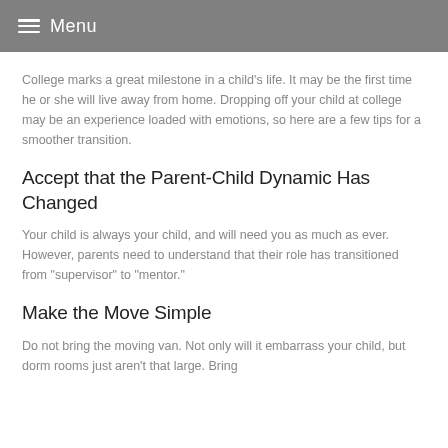Menu
College marks a great milestone in a child’s life. It may be the first time he or she will live away from home. Dropping off your child at college may be an experience loaded with emotions, so here are a few tips for a smoother transition.
Accept that the Parent-Child Dynamic Has Changed
Your child is always your child, and will need you as much as ever. However, parents need to understand that their role has transitioned from “supervisor” to “mentor.”
Make the Move Simple
Do not bring the moving van. Not only will it embarrass your child, but dorm rooms just aren’t that large. Bring